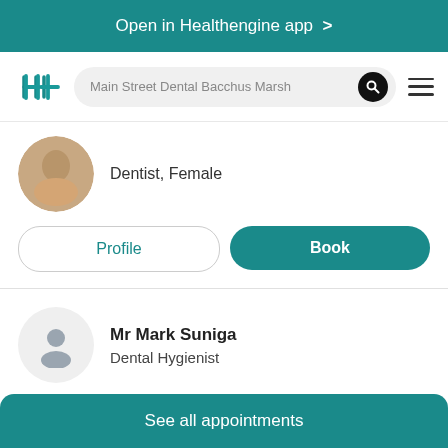Open in Healthengine app >
Main Street Dental Bacchus Marsh
Dentist, Female
Profile
Book
Mr Mark Suniga
Dental Hygienist
Profile
See all appointments